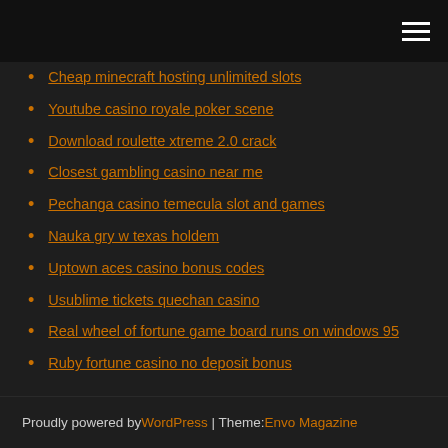[hamburger menu icon]
Cheap minecraft hosting unlimited slots
Youtube casino royale poker scene
Download roulette xtreme 2.0 crack
Closest gambling casino near me
Pechanga casino temecula slot and games
Nauka gry w texas holdem
Uptown aces casino bonus codes
Usublime tickets quechan casino
Real wheel of fortune game board runs on windows 95
Ruby fortune casino no deposit bonus
Proudly powered by WordPress | Theme: Envo Magazine